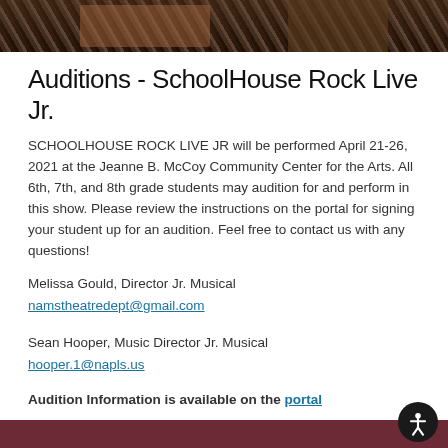[Figure (photo): Top photo strip showing a textured pattern with brown/dark tones, appears to be a cropped photo of people or fabric]
Auditions - SchoolHouse Rock Live Jr.
SCHOOLHOUSE ROCK LIVE JR will be performed April 21-26, 2021 at the Jeanne B. McCoy Community Center for the Arts. All 6th, 7th, and 8th grade students may audition for and perform in this show. Please review the instructions on the portal for signing your student up for an audition. Feel free to contact us with any questions!
Melissa Gould, Director Jr. Musical
namstheatredept@gmail.com
Sean Hooper, Music Director Jr. Musical
hooper.1@napls.us
Audition Information is available on the portal